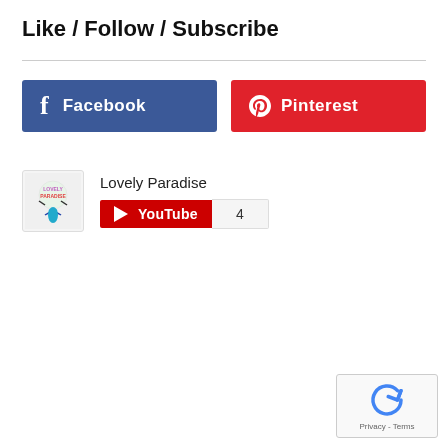Like / Follow / Subscribe
[Figure (infographic): Facebook button (blue) and Pinterest button (red) side by side]
[Figure (infographic): Lovely Paradise YouTube channel logo with subscribe button showing count of 4]
Lovely Paradise
[Figure (other): reCAPTCHA widget with Privacy and Terms links]